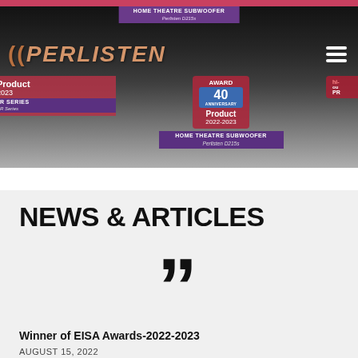[Figure (screenshot): Perlisten website header screenshot showing the Perlisten logo, navigation hamburger menu, and EISA award badges for HOME THEATRE SUBWOOFER Perlisten D215s and R Series products. Awards shown include 40th Anniversary EISA Award Product 2022-2023.]
NEWS & ARTICLES
[Figure (illustration): Large closing double quotation marks graphic]
Winner of EISA Awards-2022-2023
AUGUST 15, 2022